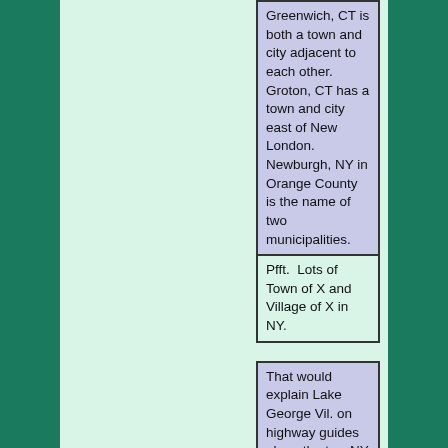Greenwich, CT is both a town and city adjacent to each other. Groton, CT has a town and city east of New London. Newburgh, NY in Orange County is the name of two municipalities.
Pfft.  Lots of Town of X and Village of X in NY.
That would explain Lake George Vil. on highway guides along the two NY 9N exits in Lake George. I always wondered why the need to add the type of municipality for it.
In that case, the signs are referring to the village itself instead of